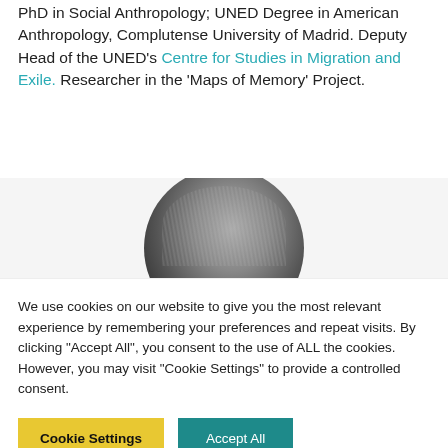PhD in Social Anthropology; UNED Degree in American Anthropology, Complutense University of Madrid. Deputy Head of the UNED's Centre for Studies in Migration and Exile. Researcher in the 'Maps of Memory' Project.
[Figure (photo): Black and white circular portrait photo showing the top/back of a person's head with grey/white hair.]
We use cookies on our website to give you the most relevant experience by remembering your preferences and repeat visits. By clicking "Accept All", you consent to the use of ALL the cookies. However, you may visit "Cookie Settings" to provide a controlled consent.